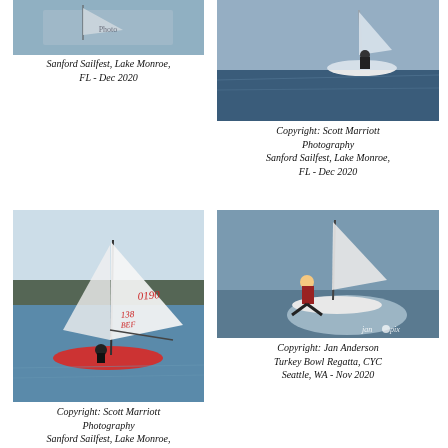[Figure (photo): Sailing boats docked or racing, partial view cropped at top]
Sanford Sailfest, Lake Monroe, FL - Dec 2020
[Figure (photo): Sailor on a small dinghy on blue water, viewed from behind]
Copyright: Scott Marriott Photography
Sanford Sailfest, Lake Monroe, FL - Dec 2020
[Figure (photo): Sailboat with sail number 0190 and 138 BEF on a lake with treeline in background]
Copyright: Scott Marriott Photography
Sanford Sailfest, Lake Monroe,
FL - Dec 2020
[Figure (photo): Sailor hiking out on a fast dinghy with spray, jan pix watermark]
Copyright: Jan Anderson
Turkey Bowl Regatta, CYC
Seattle, WA - Nov 2020